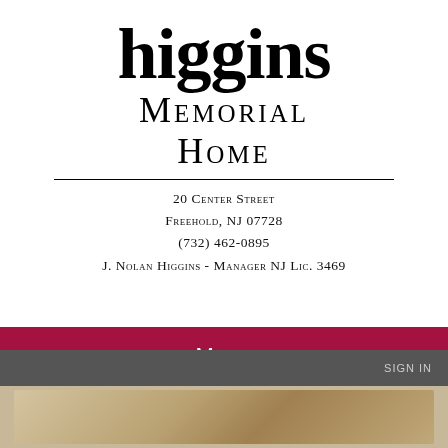higgins Memorial Home
20 Center Street
Freehold, NJ 07728
(732) 462-0895
J. Nolan Higgins - Manager NJ Lic. 3469
Menu
SIGN IN
[Figure (photo): Bottom strip showing a wooden or interior image]